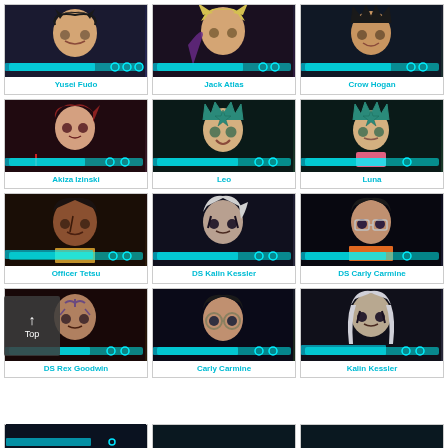[Figure (illustration): Grid of Yu-Gi-Oh 5Ds anime character portrait cards in a 3-column layout. Row 1: Yusei Fudo, Jack Atlas, Crow Hogan. Row 2: Akiza Izinski, Leo, Luna. Row 3: Officer Tetsu, DS Kalin Kessler, DS Carly Carmine. Row 4: DS Rex Goodwin, Carly Carmine, Kalin Kessler. Partial Row 5 visible at bottom. Each card has a character illustration with teal/cyan decorative HUD elements and the character name in cyan text below.]